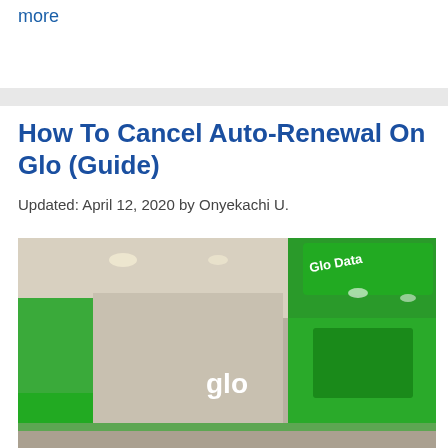more
How To Cancel Auto-Renewal On Glo (Guide)
Updated: April 12, 2020 by Onyekachi U.
[Figure (photo): Interior of a Glo store with green branding, Glo Data signage on the wall, and a large Glo circular logo in the center of the image.]